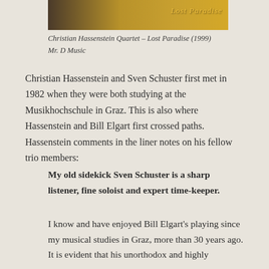[Figure (photo): Partial album cover image showing golden/warm tones with text 'Lost Paradise' visible]
Christian Hassenstein Quartet – Lost Paradise (1999)
Mr. D Music
Christian Hassenstein and Sven Schuster first met in 1982 when they were both studying at the Musikhochschule in Graz. This is also where Hassenstein and Bill Elgart first crossed paths. Hassenstein comments in the liner notes on his fellow trio members:
My old sidekick Sven Schuster is a sharp listener, fine soloist and expert time-keeper.
I know and have enjoyed Bill Elgart's playing since my musical studies in Graz, more than 30 years ago. It is evident that his unorthodox and highly